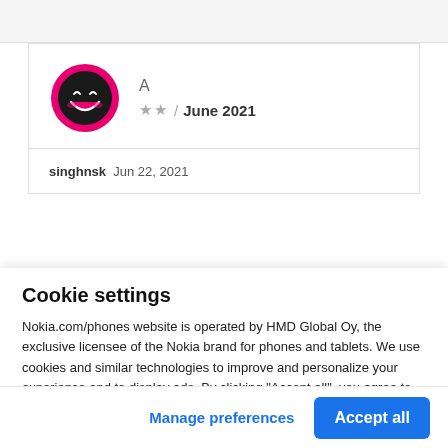[Figure (illustration): User avatar with pink ring border and laughing emoji face icon]
A
★★ / June 2021
singhnsk  Jun 22, 2021
Cookie settings
Nokia.com/phones website is operated by HMD Global Oy, the exclusive licensee of the Nokia brand for phones and tablets. We use cookies and similar technologies to improve and personalize your experience and to display ads. By clicking "Accept all", you agree to the use of cookies and similar technologies. You can change your settings at any time by selecting "Cookie Settings" at the bottom of the site. Learn more about our cookie
Manage preferences
Accept all